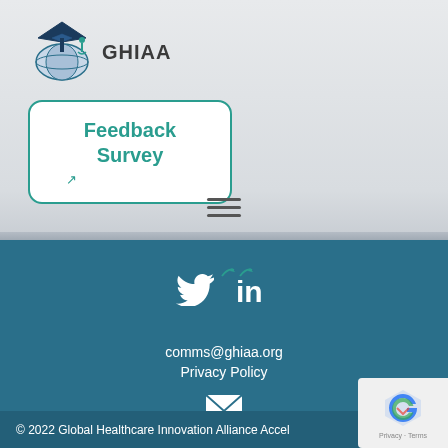[Figure (logo): GHIAA logo with graduation cap and globe icon, text reading GHIAA]
Feedback Survey
[Figure (infographic): Hamburger menu icon (three horizontal lines)]
[Figure (infographic): Twitter and LinkedIn social media icons with teal arrow decorations]
comms@ghiaa.org
Privacy Policy
[Figure (infographic): White envelope/mail icon]
© 2022 Global Healthcare Innovation Alliance Accel
[Figure (other): reCAPTCHA badge widget]